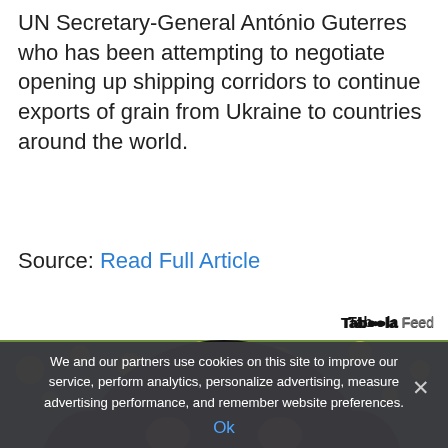UN Secretary-General António Guterres who has been attempting to negotiate opening up shipping corridors to continue exports of grain from Ukraine to countries around the world.
Source: Read Full Article
[Figure (photo): Close-up photo of a Rottweiler dog's face with black and tan markings, against a blurred green background with yellow flowers. Taboola Feed label visible above.]
We and our partners use cookies on this site to improve our service, perform analytics, personalize advertising, measure advertising performance, and remember website preferences.
Ok